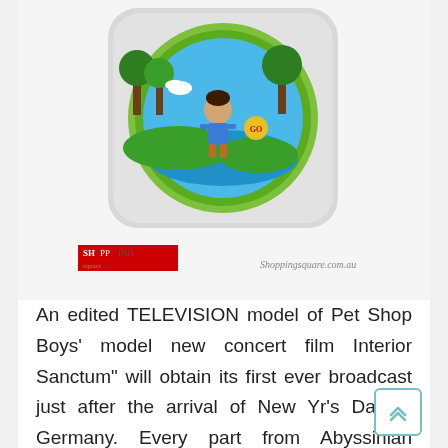[Figure (photo): A children's toy item — appears to be a round container or potty training seat with a green rim, featuring a cartoon image of Diego (from Go, Diego, Go!) on the lid. The product has a grey/white body. A 'SHOPPING square' logo watermark appears at the bottom left, and 'Shoppingsquare.com.au' text appears at the bottom right.]
An edited TELEVISION model of Pet Shop Boys' model new concert film Interior Sanctum" will obtain its first ever broadcast just after the arrival of New Yr's Day in Germany. Every part from Abyssinian Guinea Pigs to Zebra Danio fish; Amazon Parrots to Yorkshire Terrier dogs; all reptiles, small mammals, birds, cats, and canines have come from shelters or non-profit rescue groups. Lay your Pet Shop toys out to air dry. Alongside our nice vary of merchandise for your pet,